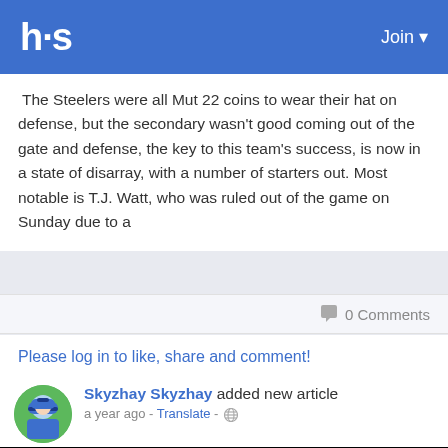hs  Join
The Steelers were all Mut 22 coins to wear their hat on defense, but the secondary wasn't good coming out of the gate and defense, the key to this team's success, is now in a state of disarray, with a number of starters out. Most notable is T.J. Watt, who was ruled out of the game on Sunday due to a
0 Comments
Please log in to like, share and comment!
Skyzhay Skyzhay added new article  a year ago - Translate -
[Figure (illustration): Checkerboard background with a cartoon avatar illustration (baseball player with blue cap) partially visible at bottom]